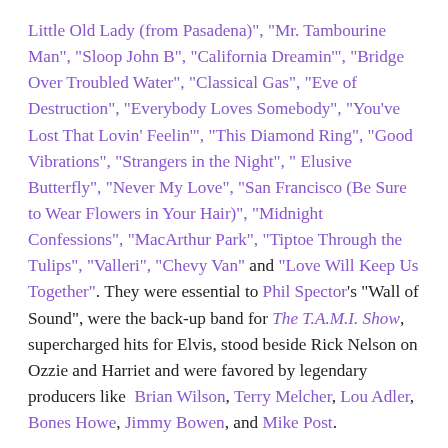Little Old Lady (from Pasadena)", "Mr. Tambourine Man", "Sloop John B", "California Dreamin'", "Bridge Over Troubled Water", "Classical Gas", "Eve of Destruction", "Everybody Loves Somebody", "You've Lost That Lovin' Feelin'", "This Diamond Ring", "Good Vibrations", "Strangers in the Night", " Elusive Butterfly", "Never My Love", "San Francisco (Be Sure to Wear Flowers in Your Hair)", "Midnight Confessions", "MacArthur Park", "Tiptoe Through the Tulips", "Valleri", "Chevy Van" and "Love Will Keep Us Together". They were essential to Phil Spector's "Wall of Sound", were the back-up band for The T.A.M.I. Show, supercharged hits for Elvis, stood beside Rick Nelson on Ozzie and Harriet and were favored by legendary producers like Brian Wilson, Terry Melcher, Lou Adler, Bones Howe, Jimmy Bowen, and Mike Post.
Ricki...